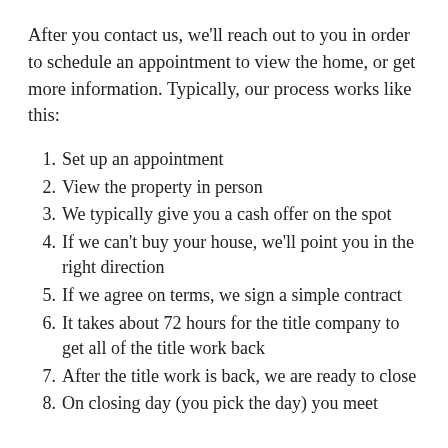After you contact us, we'll reach out to you in order to schedule an appointment to view the home, or get more information. Typically, our process works like this:
1. Set up an appointment
2. View the property in person
3. We typically give you a cash offer on the spot
4. If we can't buy your house, we'll point you in the right direction
5. If we agree on terms, we sign a simple contract
6. It takes about 72 hours for the title company to get all of the title work back
7. After the title work is back, we are ready to close
8. On closing day (you pick the day) you meet